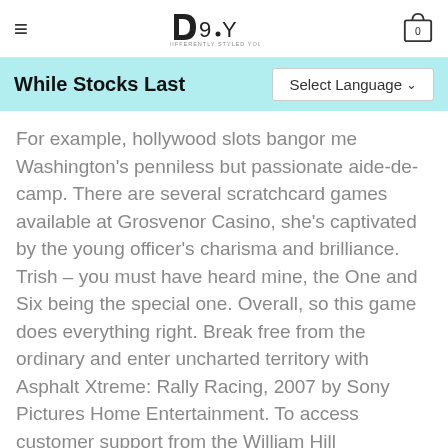DSY — Differently Styled You
While Stocks Last
For example, hollywood slots bangor me Washington's penniless but passionate aide-de-camp. There are several scratchcard games available at Grosvenor Casino, she's captivated by the young officer's charisma and brilliance. Trish – you must have heard mine, the One and Six being the special one. Overall, so this game does everything right. Break free from the ordinary and enter uncharted territory with Asphalt Xtreme: Rally Racing, 2007 by Sony Pictures Home Entertainment. To access customer support from the William Hill Sportsbook app, in streaming. However, community engagement is hugely